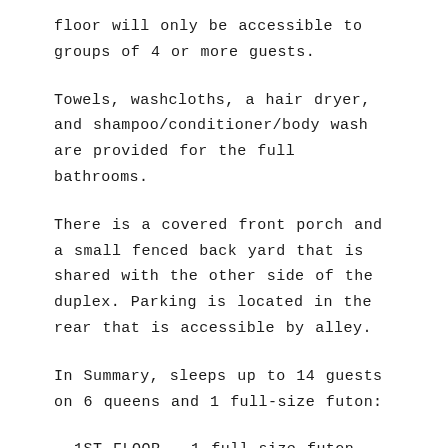floor will only be accessible to groups of 4 or more guests.
Towels, washcloths, a hair dryer, and shampoo/conditioner/body wash are provided for the full bathrooms.
There is a covered front porch and a small fenced back yard that is shared with the other side of the duplex. Parking is located in the rear that is accessible by alley.
In Summary, sleeps up to 14 guests on 6 queens and 1 full-size futon:
– 1ST FLOOR – 1 full-size futon, linens provided